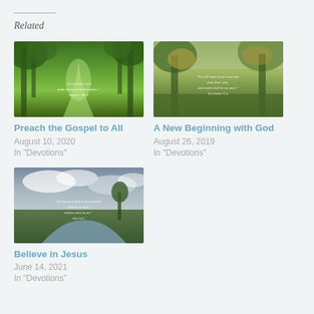Related
[Figure (photo): Nature scene with trees and green pathway with scripture overlay text for 'Preach the Gospel to All']
Preach the Gospel to All
August 10, 2020
In "Devotions"
[Figure (photo): Autumn trees nature scene with scripture overlay text for 'A New Beginning with God']
A New Beginning with God
August 26, 2019
In "Devotions"
[Figure (photo): River and green meadow scene with cloudy sky and scripture overlay for 'Believe in Jesus']
Believe in Jesus
June 14, 2021
In "Devotions"